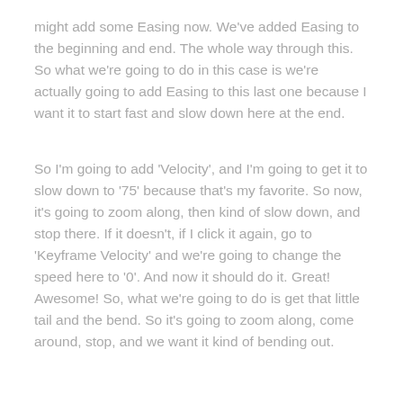might add some Easing now. We've added Easing to the beginning and end. The whole way through this. So what we're going to do in this case is we're actually going to add Easing to this last one because I want it to start fast and slow down here at the end.
So I'm going to add 'Velocity', and I'm going to get it to slow down to '75' because that's my favorite. So now, it's going to zoom along, then kind of slow down, and stop there. If it doesn't, if I click it again, go to 'Keyframe Velocity' and we're going to change the speed here to '0'. And now it should do it. Great! Awesome! So, what we're going to do is get that little tail and the bend. So it's going to zoom along, come around, stop, and we want it kind of bending out.